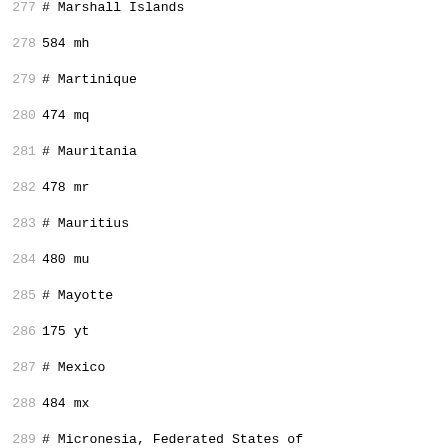277 # Marshall Islands
278 584 mh
279 # Martinique
280 474 mq
281 # Mauritania
282 478 mr
283 # Mauritius
284 480 mu
285 # Mayotte
286 175 yt
287 # Mexico
288 484 mx
289 # Micronesia, Federated States of
290 583 fm
291 # Moldova, Republic of
292 498 md
293 # Monaco
294 492 mc
295 # Mongolia
296 496 mn
297 # Montenegro
298 499 me
299 # Montserrat
300 500 ms
301 # Morocco
302 504 ma
303 # Mozambique
304 508 mz
305 # Myanmar
306 104 mm
307 # Namibia
308 516 na
309 # Nauru